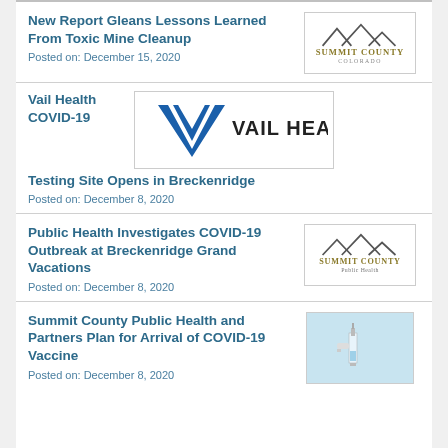New Report Gleans Lessons Learned From Toxic Mine Cleanup
Posted on: December 15, 2020
[Figure (logo): Summit County Colorado logo with mountain peaks]
Vail Health COVID-19 Testing Site Opens in Breckenridge
Posted on: December 8, 2020
[Figure (logo): Vail Health logo with blue V and text]
Public Health Investigates COVID-19 Outbreak at Breckenridge Grand Vacations
Posted on: December 8, 2020
[Figure (logo): Summit County Public Health logo with mountain peaks]
Summit County Public Health and Partners Plan for Arrival of COVID-19 Vaccine
Posted on: December 8, 2020
[Figure (photo): Photo of a vaccine syringe]